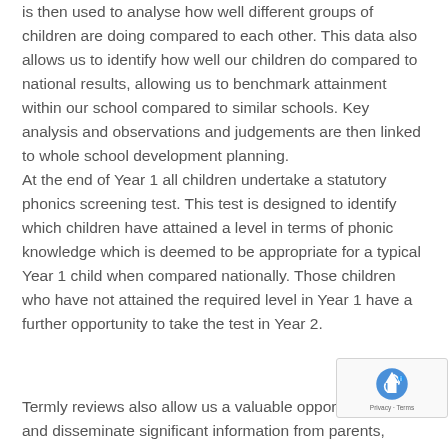is then used to analyse how well different groups of children are doing compared to each other. This data also allows us to identify how well our children do compared to national results, allowing us to benchmark attainment within our school compared to similar schools. Key analysis and observations and judgements are then linked to whole school development planning.
At the end of Year 1 all children undertake a statutory phonics screening test. This test is designed to identify which children have attained a level in terms of phonic knowledge which is deemed to be appropriate for a typical Year 1 child when compared nationally. Those children who have not attained the required level in Year 1 have a further opportunity to take the test in Year 2.
Termly reviews also allow us a valuable opportunity and disseminate significant information from parents, carers